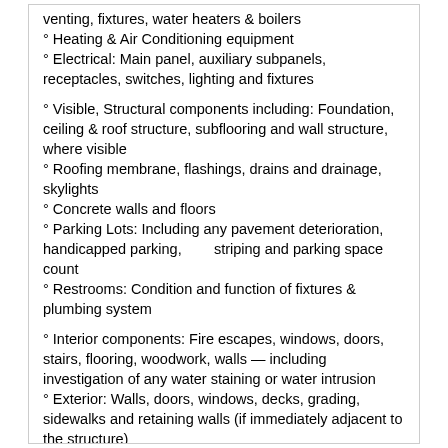venting, fixtures, water heaters & boilers
° Heating & Air Conditioning equipment
° Electrical: Main panel, auxiliary subpanels, receptacles, switches, lighting and fixtures
° Visible, Structural components including: Foundation, ceiling & roof structure, subflooring and wall structure, where visible
° Roofing membrane, flashings, drains and drainage, skylights
° Concrete walls and floors
° Parking Lots: Including any pavement deterioration, handicapped parking,        striping and parking space count
° Restrooms: Condition and function of fixtures & plumbing system
° Interior components: Fire escapes, windows, doors, stairs, flooring, woodwork, walls — including investigation of any water staining or water intrusion
° Exterior: Walls, doors, windows, decks, grading, sidewalks and retaining walls (if immediately adjacent to the structure)
For larger and more complex properties, inspections will